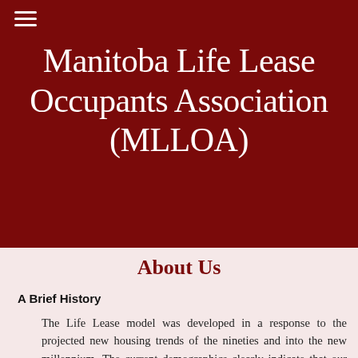≡
Manitoba Life Lease Occupants Association (MLLOA)
About Us
A Brief History
The Life Lease model was developed in a response to the projected new housing trends of the nineties and into the new millennium. The current demographics clearly indicate that our population is aging at an increasingly high rate. Current